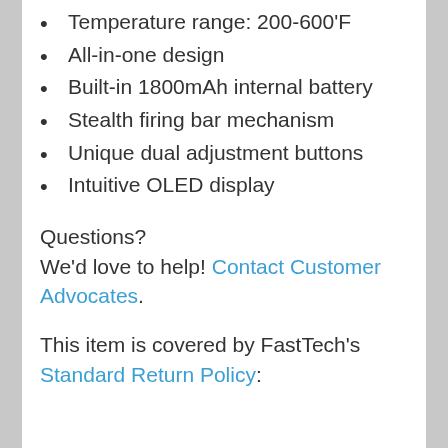Temperature range: 200-600'F
All-in-one design
Built-in 1800mAh internal battery
Stealth firing bar mechanism
Unique dual adjustment buttons
Intuitive OLED display
Questions?
We'd love to help! Contact Customer Advocates.
This item is covered by FastTech's Standard Return Policy: